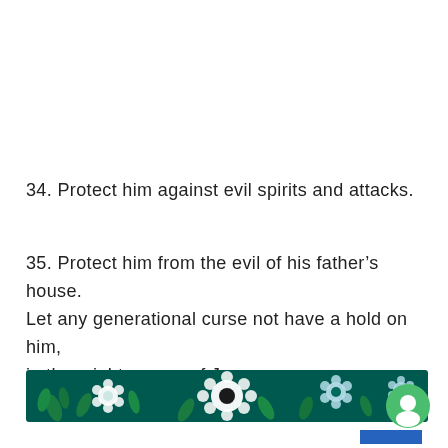34. Protect him against evil spirits and attacks.
35. Protect him from the evil of his father's house. Let any generational curse not have a hold on him, in the mighty name of Jesus.
[Figure (illustration): A decorative horizontal banner with dark teal/green background featuring illustrated flowers (white and light blue daisies) and green leaves.]
[Figure (other): A small blue rectangle (UI element) in the bottom right area, with a circular green chat/messenger icon below it.]